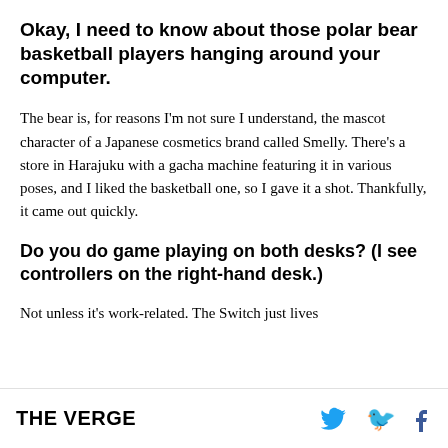Okay, I need to know about those polar bear basketball players hanging around your computer.
The bear is, for reasons I'm not sure I understand, the mascot character of a Japanese cosmetics brand called Smelly. There's a store in Harajuku with a gacha machine featuring it in various poses, and I liked the basketball one, so I gave it a shot. Thankfully, it came out quickly.
Do you do game playing on both desks? (I see controllers on the right-hand desk.)
Not unless it's work-related. The Switch just lives
THE VERGE